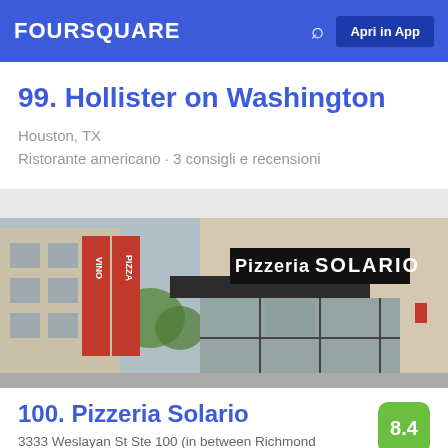FOURSQUARE  Apri in App
99. Hollister on Washington
Houston, TX
Ristorante americano · 3 consigli e recensioni
[Figure (photo): Exterior photo of Pizzeria Solario showing storefront with 'Vino Pizza' red signage and 'Pizzeria Solario' illuminated sign above glass facade]
100. Pizzeria Solario
3333 Weslayan St Ste 100 (in between Richmond and W. Alabama), Houston, TX